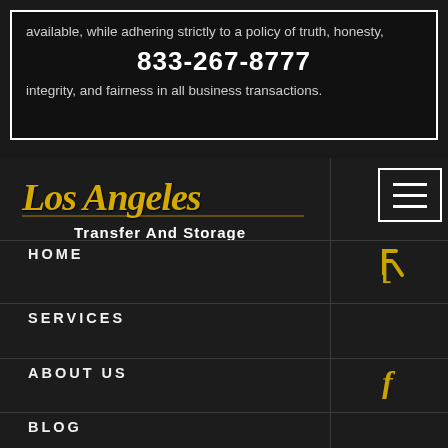available, while adhering strictly to a policy of truth, honesty, 833-267-8777 integrity, and fairness in all business transactions.
[Figure (logo): Los Angeles Transfer And Storage logo with gold script text]
[Figure (other): Hamburger menu icon (three white lines in a white bordered square)]
HOME
[Figure (other): Foursquare icon in gold]
SERVICES
ABOUT US
[Figure (other): Facebook icon in gold]
BLOG
CONTACT
[Figure (other): Yelp icon in gold]
FREE ESTIMATE
PAYMENT
CANCELLATION POLICY
PRIVACY POLICY
TERMS AND CONDITIONS